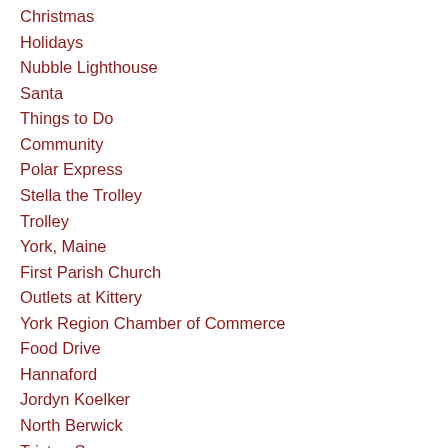Christmas
Holidays
Nubble Lighthouse
Santa
Things to Do
Community
Polar Express
Stella the Trolley
Trolley
York, Maine
First Parish Church
Outlets at Kittery
York Region Chamber of Commerce
Food Drive
Hannaford
Jordyn Koelker
North Berwick
Tristan Swanson